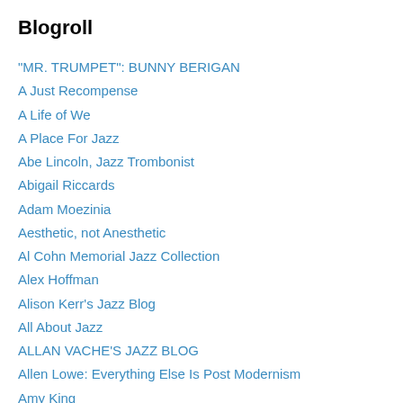Blogroll
"MR. TRUMPET": BUNNY BERIGAN
A Just Recompense
A Life of We
A Place For Jazz
Abe Lincoln, Jazz Trombonist
Abigail Riccards
Adam Moezinia
Aesthetic, not Anesthetic
Al Cohn Memorial Jazz Collection
Alex Hoffman
Alison Kerr's Jazz Blog
All About Jazz
ALLAN VACHE'S JAZZ BLOG
Allen Lowe: Everything Else Is Post Modernism
Amy King
Ana Bozicevic
Anat Cohen